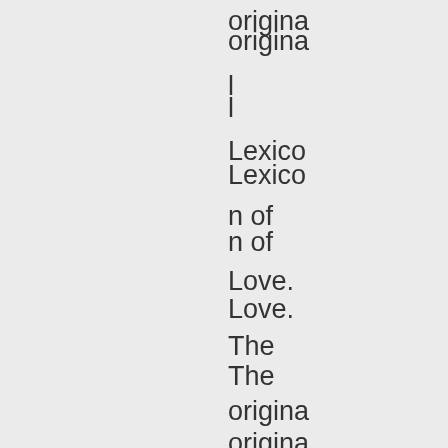original Lexicon of Love. The original songs have such great economy to them howev